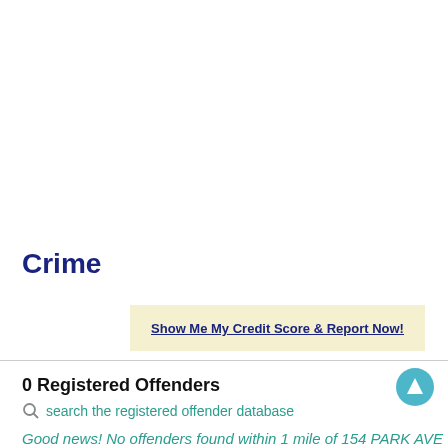Crime
Show Me My Credit Score & Report Now!
0 Registered Offenders
search the registered offender database
Good news! No offenders found within 1 mile of 154 PARK AVE